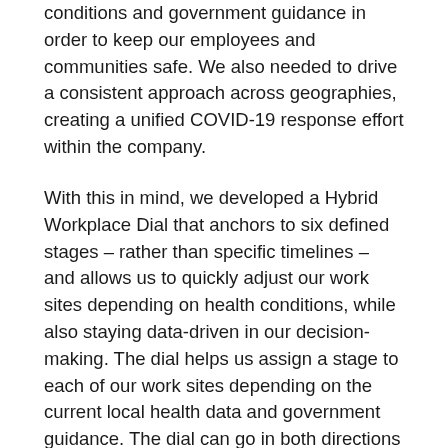conditions and government guidance in order to keep our employees and communities safe. We also needed to drive a consistent approach across geographies, creating a unified COVID-19 response effort within the company.
With this in mind, we developed a Hybrid Workplace Dial that anchors to six defined stages – rather than specific timelines – and allows us to quickly adjust our work sites depending on health conditions, while also staying data-driven in our decision-making. The dial helps us assign a stage to each of our work sites depending on the current local health data and government guidance. The dial can go in both directions – moving a work site forward when local disease burden improves, and also dialing back when we observe declines in progress. Each stage is defined by a set of data-driven criteria (e.g. trends in cases and deaths and government guidelines) as well as site readiness assessments, and carries with it a set of prescribed policies and actions.
For example, while Stage 4 and 5 offer limited...